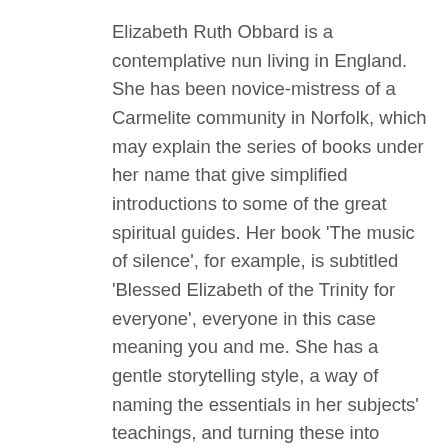Elizabeth Ruth Obbard is a contemplative nun living in England. She has been novice-mistress of a Carmelite community in Norfolk, which may explain the series of books under her name that give simplified introductions to some of the great spiritual guides. Her book ‘The music of silence’, for example, is subtitled ‘Blessed Elizabeth of the Trinity for everyone’, everyone in this case meaning you and me. She has a gentle storytelling style, a way of naming the essentials in her subjects’ teachings, and turning these into matter for reflection and prayer. The Library has this year ordered the back run of Obbard, all published in recent times by New City (London), including books ‘for everyone’ on Hildegard of Bingen, St. Angela of Foligno, St. Francis of Assisi, St. Francis de Sales, as well as the central figures in Carmelite spirituality. Her bibliographies recommend which books to read next to deepen our